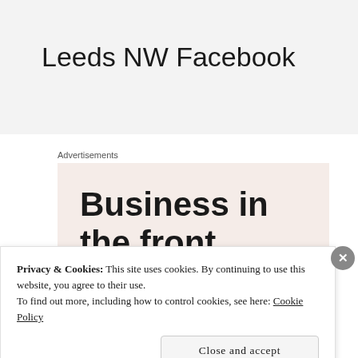Leeds NW Facebook
Advertisements
[Figure (screenshot): Advertisement banner with text 'Business in the front...' on a light peach/beige background with an orange bar at the bottom]
Privacy & Cookies: This site uses cookies. By continuing to use this website, you agree to their use.
To find out more, including how to control cookies, see here: Cookie Policy
Close and accept